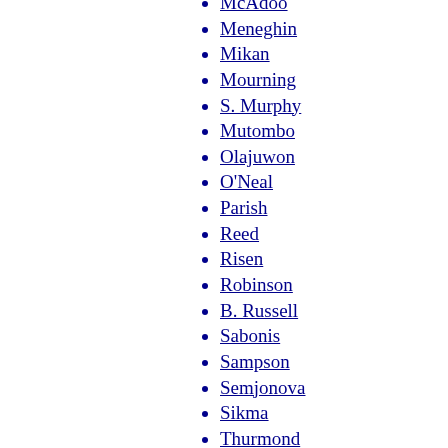McAdoo
Meneghin
Mikan
Mourning
S. Murphy
Mutombo
Olajuwon
O'Neal
Parish
Reed
Risen
Robinson
B. Russell
Sabonis
Sampson
Semjonova
Sikma
Thurmond
Unseld
Wachter
Wallace
Walton
Yao
Adelman